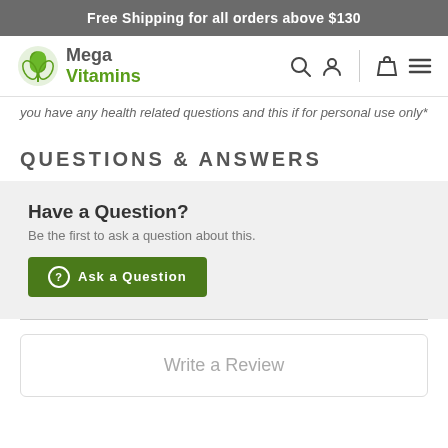Free Shipping for all orders above $130
[Figure (logo): Mega Vitamins logo with green leaf icon]
you have any health related questions and this if for personal use only*
QUESTIONS & ANSWERS
Have a Question?
Be the first to ask a question about this.
Ask a Question
Write a Review